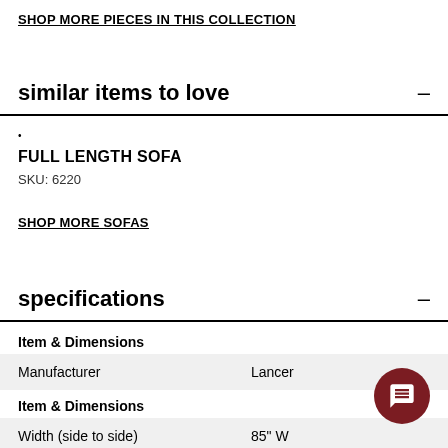SHOP MORE PIECES IN THIS COLLECTION
similar items to love
.
FULL LENGTH SOFA
SKU: 6220
SHOP MORE SOFAS
specifications
|  |  |
| --- | --- |
| Item & Dimensions |  |
| Manufacturer | Lancer |
| Item & Dimensions |  |
| Width (side to side) | 85" W |
| Depth (front to back) | 75" D |